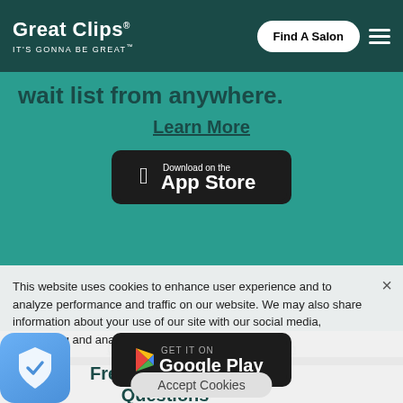Great Clips | IT'S GONNA BE GREAT
wait list from anywhere.
Learn More
[Figure (logo): Download on the App Store button (black rounded rectangle with Apple logo)]
This website uses cookies to enhance user experience and to analyze performance and traffic on our website. We may also share information about your use of our site with our social media, advertising and analytics partners. Privacy Notice
[Figure (logo): Get it on Google Play button (black rounded rectangle with Google Play logo)]
Do Not Sell My Personal Information
Frequently Asked Questions
Accept Cookies